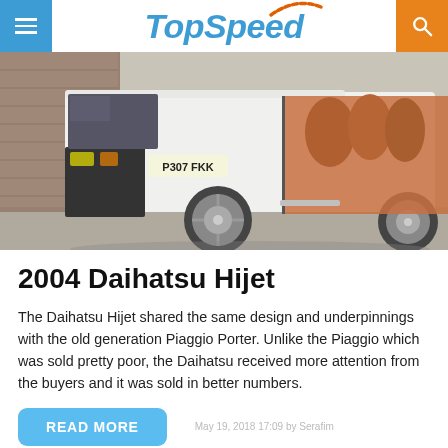TopSpeed
[Figure (photo): A white Daihatsu Hijet van with license plate P307 FKK, parked with its sliding side door open showing cargo inside, in an outdoor setting.]
2004 Daihatsu Hijet
The Daihatsu Hijet shared the same design and underpinnings with the old generation Piaggio Porter. Unlike the Piaggio which was sold pretty poor, the Daihatsu received more attention from the buyers and it was sold in better numbers.
READ MORE
May 19, 2018 17:09 by Serafim